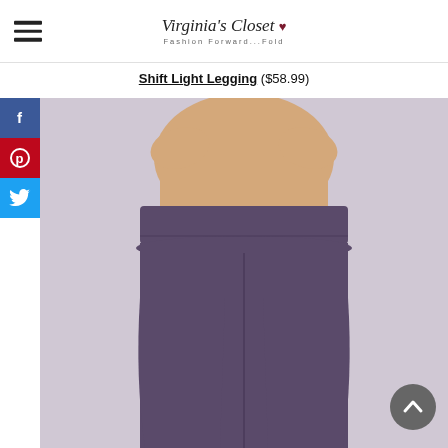Virginia's Closet — Fashion Forward...Fold
Shift Light Legging ($58.99)
[Figure (photo): Back view of a woman wearing purple/plum high-waisted leggings, shown from waist down, with hands behind her back.]
[Figure (infographic): Social media sharing buttons: Facebook (blue), Pinterest (red), Twitter (light blue)]